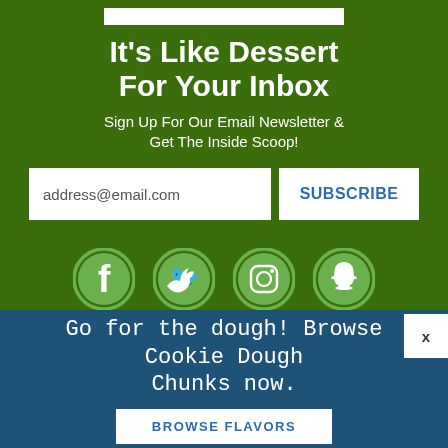It's Like Dessert For Your Inbox
Sign Up For Our Email Newsletter & Get The Inside Scoop!
address@email.com
SUBSCRIBE
[Figure (illustration): Four social media icon circles (Facebook, Twitter, Instagram, Snapchat) on green background]
Go for the dough! Browse Cookie Dough Chunks now.
BROWSE FLAVORS
x